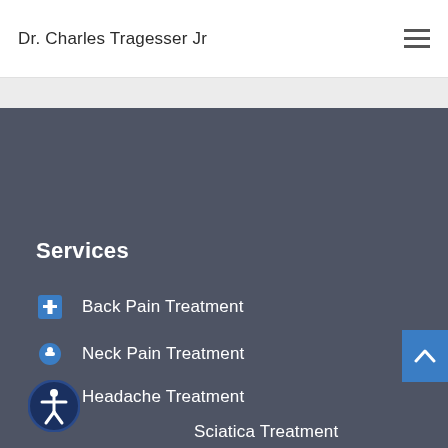Dr. Charles Tragesser Jr
Services
Back Pain Treatment
Neck Pain Treatment
Headache Treatment
Sciatica Treatment